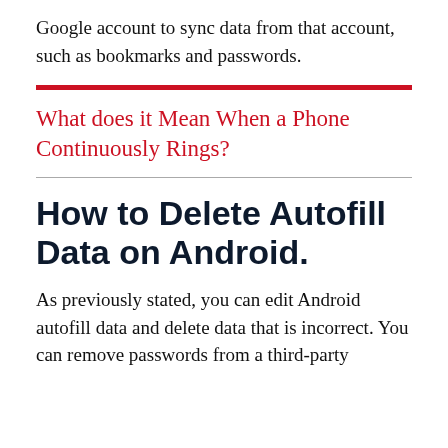Google account to sync data from that account, such as bookmarks and passwords.
What does it Mean When a Phone Continuously Rings?
How to Delete Autofill Data on Android.
As previously stated, you can edit Android autofill data and delete data that is incorrect. You can remove passwords from a third-party